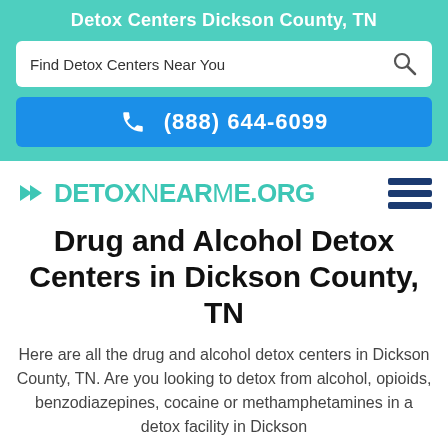Detox Centers Dickson County, TN
Find Detox Centers Near You
(888) 644-6099
[Figure (logo): DetoxNearMe.org logo in teal with a hamburger menu icon]
Drug and Alcohol Detox Centers in Dickson County, TN
Here are all the drug and alcohol detox centers in Dickson County, TN. Are you looking to detox from alcohol, opioids, benzodiazepines, cocaine or methamphetamines in a detox facility in Dickson